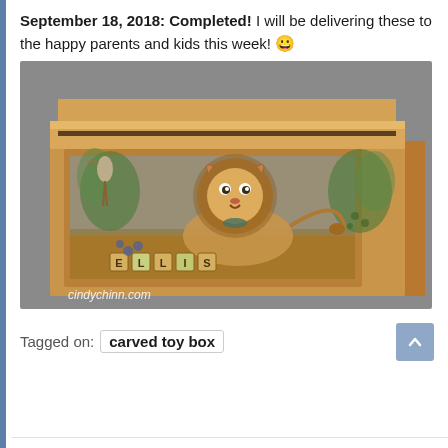September 18, 2018: Completed!  I will be delivering these to the happy parents and kids this week! 😀
[Figure (photo): A wooden carved toy box with a lion and jungle scene carved on the front panel, including birds and foliage. Letter blocks spell a name at the bottom. The lid is flat with a backboard. Watermark reads 'cindychinn.com'.]
Tagged on:  carved toy box